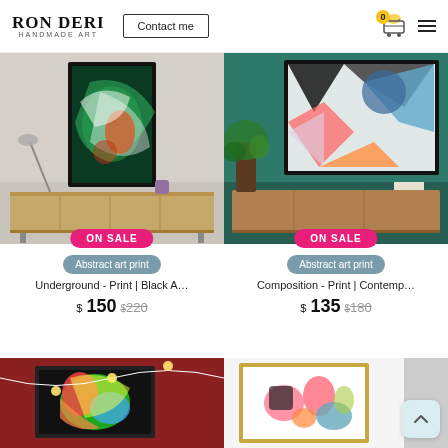RON DERI HANDMADE ART | Contact me | 0 (cart) | menu
[Figure (photo): Abstract colorful art print displayed on wall above a wooden sideboard in a modern living room, with ON SALE badge]
Abstract art print
Underground - Print | Black A…
$150  $220
[Figure (photo): Abstract contemporary art print with black, white, blue, pink, and orange geometric shapes displayed on a teal wall above wooden furniture, with ON SALE badge]
Abstract art print
Composition - Print | Contemp…
$135  $180
[Figure (photo): Colorful vibrant abstract art print displayed on a dark red wall with string lights]
[Figure (photo): Colorful abstract art print with pink, blue, orange shapes displayed on a white wall]